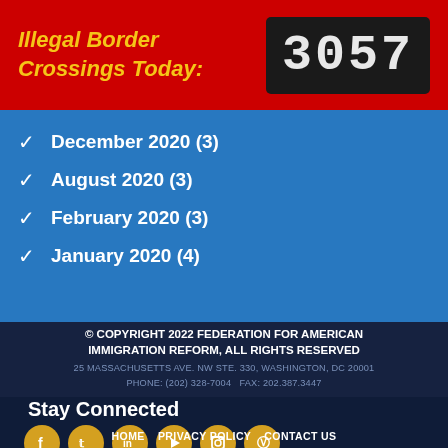Illegal Border Crossings Today: 3057
December 2020 (3)
August 2020 (3)
February 2020 (3)
January 2020 (4)
© COPYRIGHT 2022 FEDERATION FOR AMERICAN IMMIGRATION REFORM, ALL RIGHTS RESERVED
25 MASSACHUSETTS AVE. NW STE. 330, WASHINGTON, DC 20001
PHONE: (202) 328-7004   FAX: 202.387.3447
Stay Connected
HOME   PRIVACY POLICY   CONTACT US